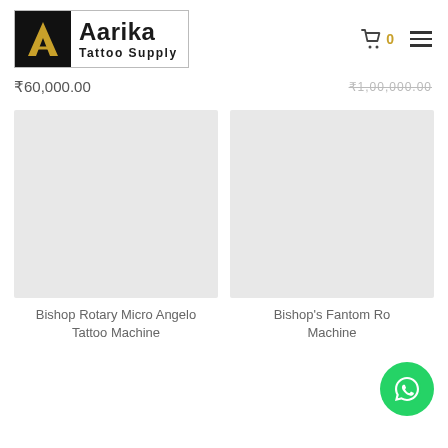[Figure (logo): Aarika Tattoo Supply logo — black square with gold letter A on left, bold text 'Aarika Tattoo Supply' on right, all inside a bordered box]
₹60,000.00
₹1,00,000.00 (strikethrough/truncated)
[Figure (photo): Product image placeholder (light gray rectangle) for Bishop Rotary Micro Angelo Tattoo Machine]
[Figure (photo): Product image placeholder (light gray rectangle) for Bishop's Fantom Rotary Machine]
Bishop Rotary Micro Angelo Tattoo Machine
Bishop's Fantom Rotary Machine